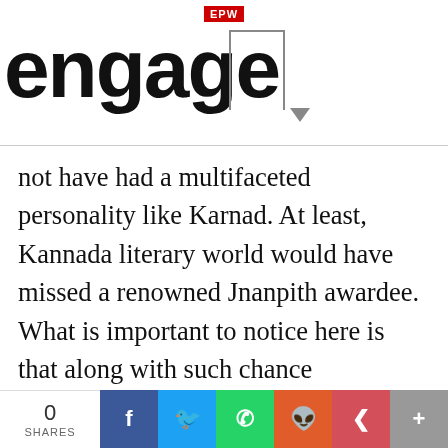EPW engage
not have had a multifaceted personality like Karnad. At least, Kannada literary world would have missed a renowned Jnanpith awardee. What is important to notice here is that along with such chance happenings out of sheer luck, what produces great artists like Karnad is not only their individual talent, but more importantly, the places they grow up and live. Therefore, the article will explore the conditions of possibility that shaped the intellectual life of Karnad. Looking at such
0 SHARES | Facebook | Twitter | WhatsApp | Reddit | Pocket | +